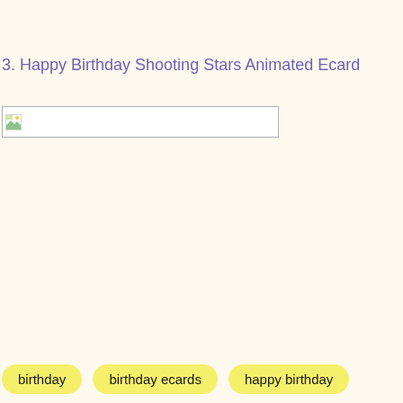3. Happy Birthday Shooting Stars Animated Ecard
[Figure (other): Broken/unloaded image placeholder rectangle with small image icon in top-left corner]
birthday
birthday ecards
happy birthday